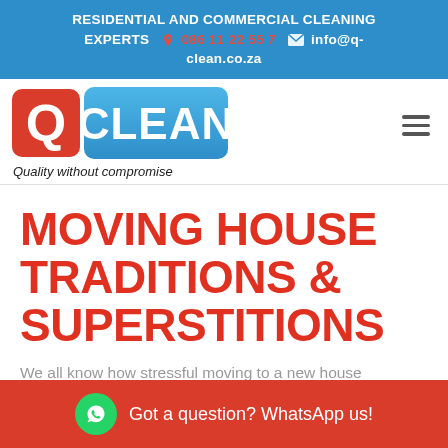RESIDENTIAL AND COMMERCIAL CLEANING EXPERTS  086 11 22 55 7  info@q-clean.co.za
[Figure (logo): Q Clean logo with red Q icon and blue CLEAN text, tagline: Quality without compromise]
MOVING HOUSE TRADITIONS & SUPERSTITIONS
We all know how stressful moving to a new house
Got a question? WhatsApp us!